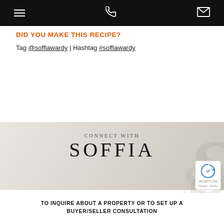Navigation bar with menu, phone, and email icons
DID YOU MAKE THIS RECIPE?
Tag @soffiawardy | Hashtag #soffiawardy
[Figure (illustration): Connect with Soffia banner with watermark script S logo on a light beige/gray textured background]
TO INQUIRE ABOUT A PROPERTY OR TO SET UP A BUYER/SELLER CONSULTATION